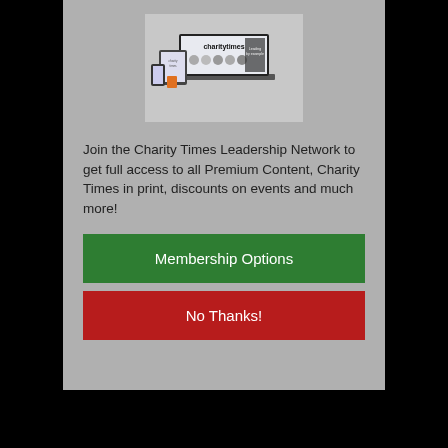[Figure (illustration): Charity Times digital media devices mockup showing laptop, tablet, and phone screens with the charitytimes logo and content]
Join the Charity Times Leadership Network to get full access to all Premium Content, Charity Times in print, discounts on events and much more!
Membership Options
No Thanks!